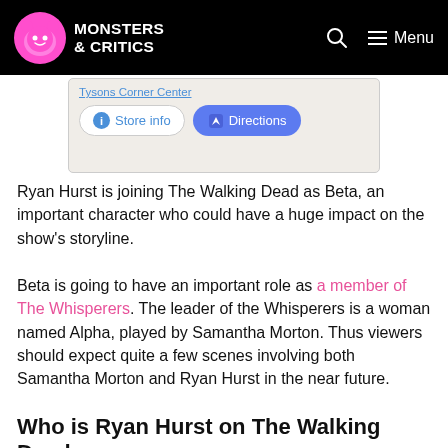Monsters & Critics — Menu
[Figure (screenshot): Partial Google Maps screenshot showing Tysons Corner Center with Store info and Directions buttons]
Ryan Hurst is joining The Walking Dead as Beta, an important character who could have a huge impact on the show's storyline.
Beta is going to have an important role as a member of The Whisperers. The leader of the Whisperers is a woman named Alpha, played by Samantha Morton. Thus viewers should expect quite a few scenes involving both Samantha Morton and Ryan Hurst in the near future.
Who is Ryan Hurst on The Walking Dead?